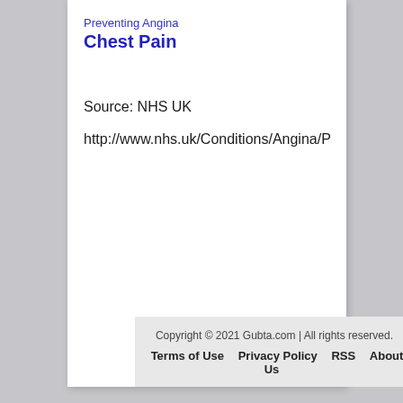Preventing Angina
Chest Pain
Source: NHS UK
http://www.nhs.uk/Conditions/Angina/Pa
Copyright © 2021 Gubta.com | All rights reserved. Terms of Use Privacy Policy RSS About Us